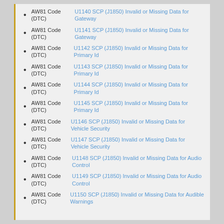AW81 Code (DTC) U1140 SCP (J1850) Invalid or Missing Data for Gateway
AW81 Code (DTC) U1141 SCP (J1850) Invalid or Missing Data for Gateway
AW81 Code (DTC) U1142 SCP (J1850) Invalid or Missing Data for Primary Id
AW81 Code (DTC) U1143 SCP (J1850) Invalid or Missing Data for Primary Id
AW81 Code (DTC) U1144 SCP (J1850) Invalid or Missing Data for Primary Id
AW81 Code (DTC) U1145 SCP (J1850) Invalid or Missing Data for Primary Id
AW81 Code (DTC) U1146 SCP (J1850) Invalid or Missing Data for Vehicle Security
AW81 Code (DTC) U1147 SCP (J1850) Invalid or Missing Data for Vehicle Security
AW81 Code (DTC) U1148 SCP (J1850) Invalid or Missing Data for Audio Control
AW81 Code (DTC) U1149 SCP (J1850) Invalid or Missing Data for Audio Control
AW81 Code (DTC) U1150 SCP (J1850) Invalid or Missing Data for Audible Warnings